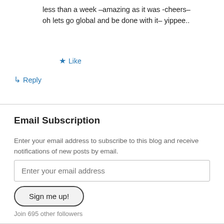less than a week –amazing as it was -cheers– oh lets go global and be done with it– yippee..
★ Like
↳ Reply
Email Subscription
Enter your email address to subscribe to this blog and receive notifications of new posts by email.
Enter your email address
Sign me up!
Join 695 other followers